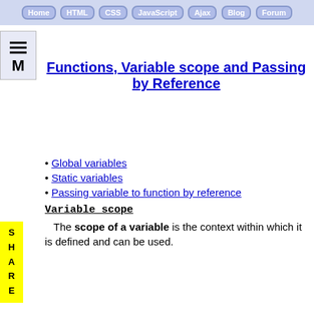Home | HTML | CSS | JavaScript | Ajax | Blog | Forum
[Figure (other): Menu icon with hamburger lines and letter M]
[Figure (other): SHARE vertical bar in yellow]
Functions, Variable scope and Passing by Reference
Global variables
Static variables
Passing variable to function by reference
Variable scope
The scope of a variable is the context within which it is defined and can be used.